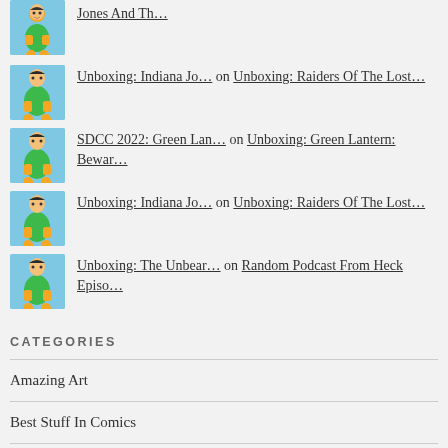Jones And Th...
Unboxing: Indiana Jo... on Unboxing: Raiders Of The Lost...
SDCC 2022: Green Lan... on Unboxing: Green Lantern: Bewar...
Unboxing: Indiana Jo... on Unboxing: Raiders Of The Lost...
Unboxing: The Unbear... on Random Podcast From Heck Episo...
CATEGORIES
Amazing Art
Best Stuff In Comics